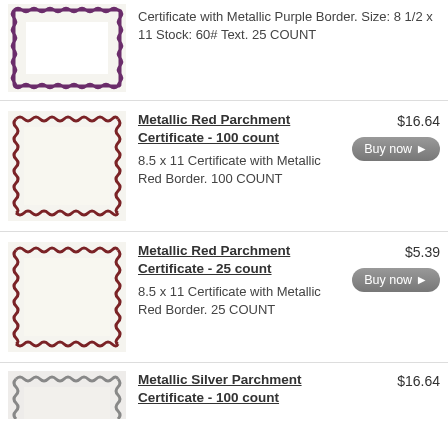[Figure (illustration): Certificate with metallic purple border thumbnail]
Certificate with Metallic Purple Border. Size: 8 1/2 x 11 Stock: 60# Text. 25 COUNT
[Figure (illustration): Certificate with metallic red border thumbnail]
Metallic Red Parchment Certificate - 100 count
8.5 x 11 Certificate with Metallic Red Border. 100 COUNT
$16.64
[Figure (illustration): Certificate with metallic red border thumbnail]
Metallic Red Parchment Certificate - 25 count
8.5 x 11 Certificate with Metallic Red Border. 25 COUNT
$5.39
[Figure (illustration): Certificate with metallic silver border thumbnail (partially visible)]
Metallic Silver Parchment Certificate - 100 count
$16.64